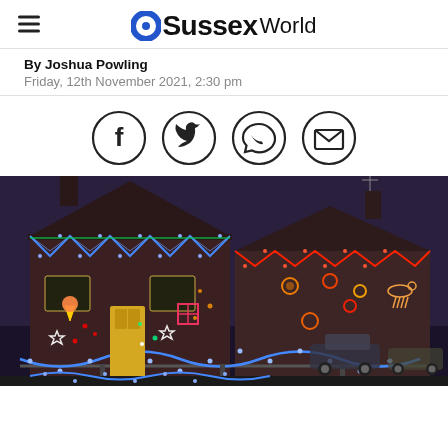OSussexWorld
By Joshua Powling
Friday, 12th November 2021, 2:30 pm
[Figure (other): Social sharing icons: Facebook, Twitter, WhatsApp, Email]
[Figure (photo): House decorated with extensive colourful Christmas lights at night, showing blue icicle lights along rooflines, and many illuminated Christmas figures and decorations covering the front walls]